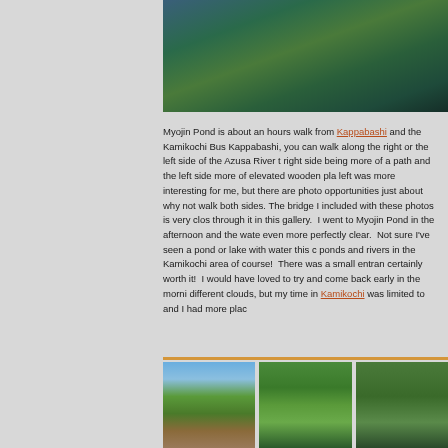[Figure (photo): Aerial or overhead view of a pond or lake with forest reflections in dark blue-green water, taken at Myojin Pond in Kamikochi]
Myojin Pond is about an hours walk from Kappabashi and the Kamikochi Bus... Kappabashi, you can walk along the right or the left side of the Azusa River t... right side being more of a path and the left side more of elevated wooden pla... left was more interesting for me, but there are photo opportunities just about... why not walk both sides. The bridge I included with these photos is very clos... through it in this gallery. I went to Myojin Pond in the afternoon and the wate... even more perfectly clear. Not sure I've seen a pond or lake with water this c... ponds and rivers in the Kamikochi area of course! There was a small entran... certainly worth it! I would have loved to try and come back early in the morni... different clouds, but my time in Kamikochi was limited to and I had more plac...
[Figure (photo): Mountain landscape with rocky peaks, trees, and a wooden walkway or bridge]
[Figure (photo): Forest path with green trees and hikers visible]
[Figure (photo): Partially visible photo of forest or nature scene]